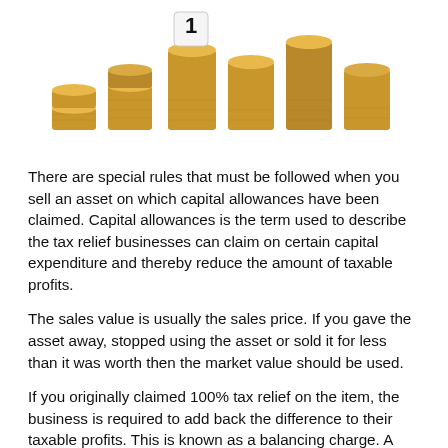[Figure (photo): Stacked gold coins in ascending height columns with a dice showing number 1, representing investment or taxation concept]
There are special rules that must be followed when you sell an asset on which capital allowances have been claimed. Capital allowances is the term used to describe the tax relief businesses can claim on certain capital expenditure and thereby reduce the amount of taxable profits.
The sales value is usually the sales price. If you gave the asset away, stopped using the asset or sold it for less than it was worth then the market value should be used.
If you originally claimed 100% tax relief on the item, the business is required to add back the difference to their taxable profits. This is known as a balancing charge. A